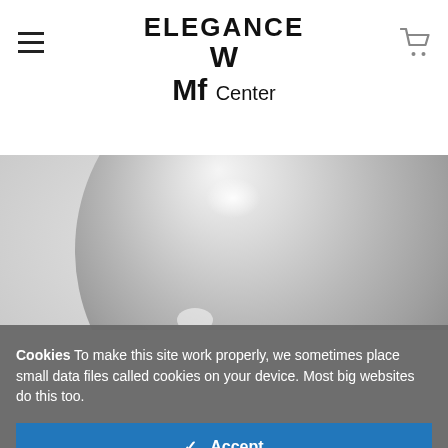ELEGANCE WMf Center
[Figure (photo): Close-up of a shiny metallic silver sphere/ball product against a light background]
Cookies To make this site work properly, we sometimes place small data files called cookies on your device. Most big websites do this too.
✓ Accept
Change Settings ⚙